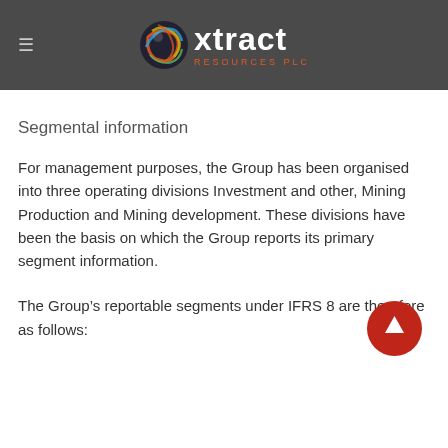xtract resources plc
Segmental information
For management purposes, the Group has been organised into three operating divisions Investment and other, Mining Production and Mining development. These divisions have been the basis on which the Group reports its primary segment information.
The Group’s reportable segments under IFRS 8 are therefore as follows: